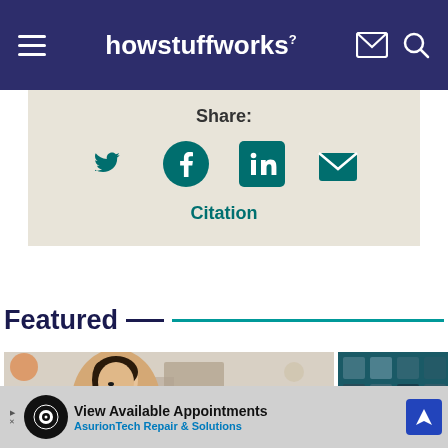howstuffworks
Share:
Citation
Featured
[Figure (photo): Young Asian woman looking up, bokeh background in a shopping mall or transit hub]
[Figure (screenshot): Teal/dark grid squares on dark background, partial view]
View Available Appointments AsurionTech Repair & Solutions